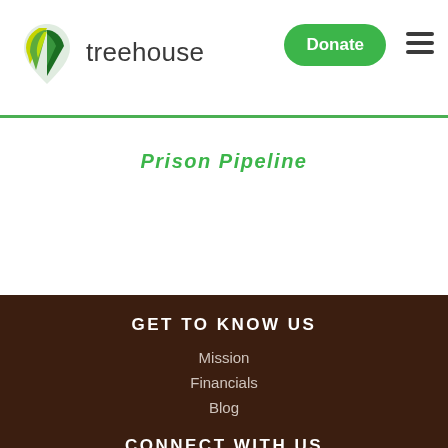[Figure (logo): Treehouse organization logo with green leaf icon and 'treehouse' text]
Donate
Prison Pipeline
GET TO KNOW US
Mission
Financials
Blog
CONNECT WITH US
206.767.7000
Directions & Hours